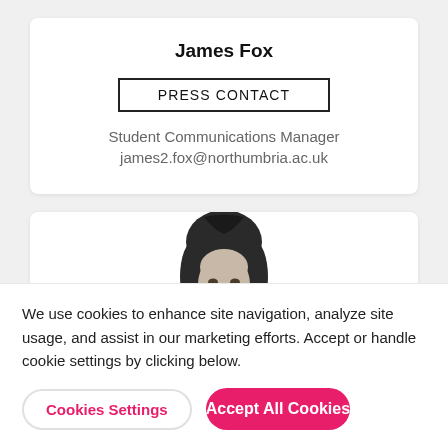James Fox
PRESS CONTACT
Student Communications Manager
james2.fox@northumbria.ac.uk
[Figure (photo): Black and white photo of a woman with dark hair, partially visible, cut off at the top of the frame]
We use cookies to enhance site navigation, analyze site usage, and assist in our marketing efforts. Accept or handle cookie settings by clicking below.
Cookies Settings
Accept All Cookies